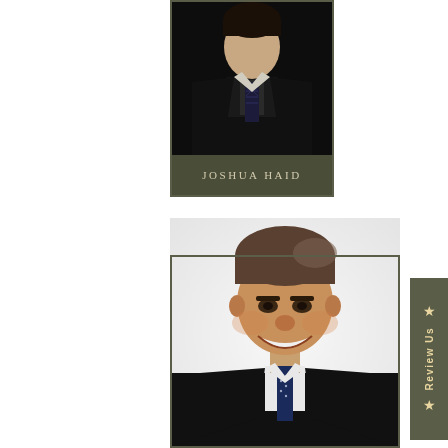[Figure (photo): Professional headshot of Joshua Haid, a man in a dark suit and patterned tie, dark background, upper body visible]
JOSHUA HAID
[Figure (photo): Professional headshot of a smiling man in a dark suit with a navy blue tie, light/white background, warm smile, brown/grey hair]
★ Review Us ★